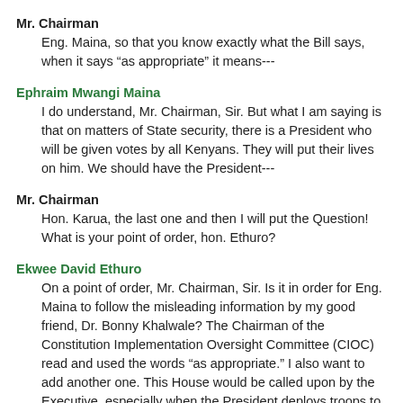Mr. Chairman
Eng. Maina, so that you know exactly what the Bill says, when it says “as appropriate” it means---
Ephraim Mwangi Maina
I do understand, Mr. Chairman, Sir. But what I am saying is that on matters of State security, there is a President who will be given votes by all Kenyans. They will put their lives on him. We should have the President---
Mr. Chairman
Hon. Karua, the last one and then I will put the Question! What is your point of order, hon. Ethuro?
Ekwee David Ethuro
On a point of order, Mr. Chairman, Sir. Is it in order for Eng. Maina to follow the misleading information by my good friend, Dr. Bonny Khalwale? The Chairman of the Constitution Implementation Oversight Committee (CIOC) read and used the words “as appropriate.” I also want to add another one. This House would be called upon by the Executive, especially when the President deploys troops to war. Now, without the House having appreciated what the potential threats are, how do you